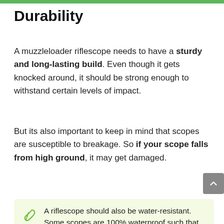Durability
A muzzleloader riflescope needs to have a sturdy and long-lasting build. Even though it gets knocked around, it should be strong enough to withstand certain levels of impact.
But its also important to keep in mind that scopes are susceptible to breakage. So if your scope falls from high ground, it may get damaged.
A riflescope should also be water-resistant. Some scopes are 100% waterproof such that even though they fall in a pool of water, they won't get water damage. Others are not.